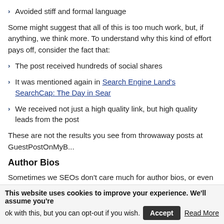Avoided stiff and formal language
Some might suggest that all of this is too much work, but, if anything, we think more. To understand why this kind of effort pays off, consider the fact that:
The post received hundreds of social shares
It was mentioned again in Search Engine Land's SearchCap: The Day in Sear...
We received not just a high quality link, but high quality leads from the post
These are not the results you see from throwaway posts at GuestPostOnMyB...
Author Bios
Sometimes we SEOs don't care much for author bios, or even hate them. A m identified separate block of content…who cares? Well, we do. This is your sa
Make your author bio fun to read so that readers see you as a person, not an a
Mention your brand name and don't focus on keywords. Branding matters!
Include links where they make the most sense and where they will drive maxim send the (already outdated) signals to the search engines.
This website uses cookies to improve your experience. We'll assume you're ok with this, but you can opt-out if you wish.